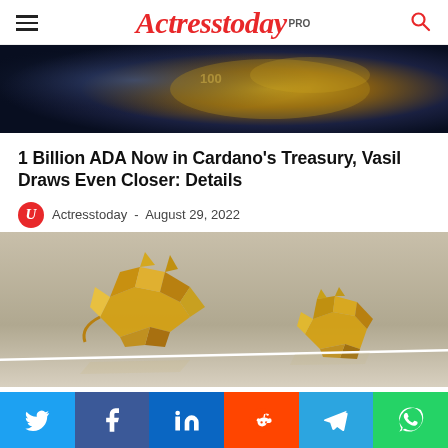Actresstoday PRO
[Figure (photo): Close-up of gold/metallic surface, financial imagery with blue and gold tones]
1 Billion ADA Now in Cardano's Treasury, Vasil Draws Even Closer: Details
Actresstoday - August 29, 2022
[Figure (photo): Gold polygonal bull and bear figurines on a diagonal white line against a beige/grey background — representing financial bull and bear markets]